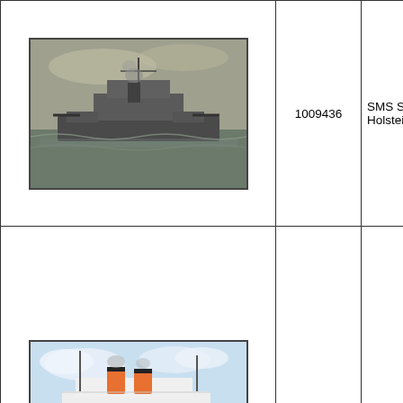| Image | ID | Name | Line | Description |
| --- | --- | --- | --- | --- |
| [ship image] | 1009436 | SMS Schleswig-Holstein | Naval | Schleswig- Robert Sch light corner Minimal ma light markir extremely li reverse. (V |
| [ship image] | 1038709 | Stuttgart | Norddeutscher Lloyd (North German Lloyd) | A company Stuttgart, w Schmidt Ha wear and a to the top ri extremely li little very lig on the edge the right ed the front. E ageing to th 5.8" x 4.1". |
| [ship image] | 1024102 | Taormina | Rob. M. Sloman, Hamburg. | A lovely art issued by th Verein feat various Ge companies Taormina o Palermo. A Hamburg. A wear. A sm |